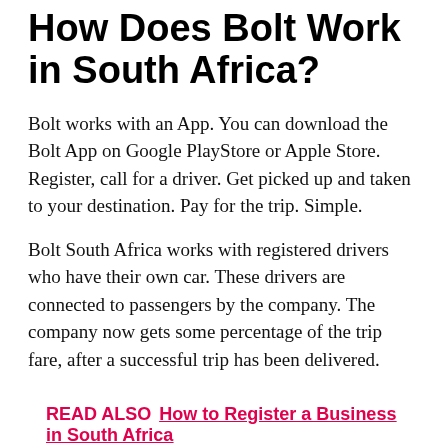How Does Bolt Work in South Africa?
Bolt works with an App. You can download the Bolt App on Google PlayStore or Apple Store. Register, call for a driver. Get picked up and taken to your destination. Pay for the trip. Simple.
Bolt South Africa works with registered drivers who have their own car. These drivers are connected to passengers by the company. The company now gets some percentage of the trip fare, after a successful trip has been delivered.
READ ALSO  How to Register a Business in South Africa
A user simply needs to follow the processes described earlier, in order to enjoy the Bolt services.